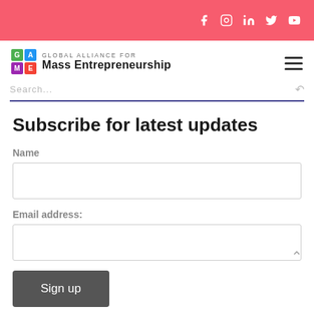Social icons: Facebook, Instagram, LinkedIn, Twitter, YouTube
[Figure (logo): Global Alliance for Mass Entrepreneurship (GAME) logo with colored letter grid and text]
Search...
Subscribe for latest updates
Name
Email address:
Sign up